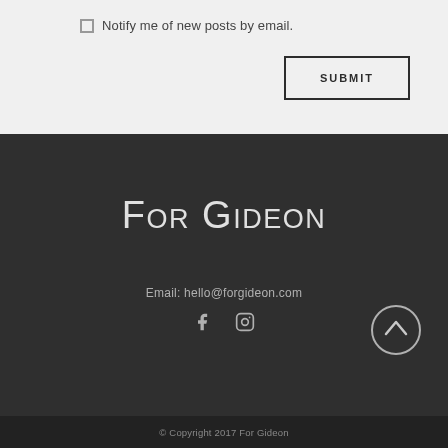Notify me of new posts by email.
SUBMIT
For Gideon
Email: hello@forgideon.com
[Figure (illustration): Social media icons: Facebook (f) and Instagram (camera/circle icon)]
[Figure (illustration): Scroll-to-top circular button with upward arrow]
© Copyright 2017 For Gideon